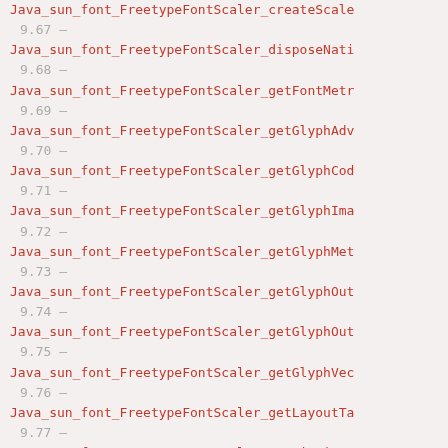Java_sun_font_FreetypeFontScaler_createScale
9.67 -
Java_sun_font_FreetypeFontScaler_disposeNati
9.68 -
Java_sun_font_FreetypeFontScaler_getFontMetr
9.69 -
Java_sun_font_FreetypeFontScaler_getGlyphAdv
9.70 -
Java_sun_font_FreetypeFontScaler_getGlyphCod
9.71 -
Java_sun_font_FreetypeFontScaler_getGlyphIma
9.72 -
Java_sun_font_FreetypeFontScaler_getGlyphMet
9.73 -
Java_sun_font_FreetypeFontScaler_getGlyphOut
9.74 -
Java_sun_font_FreetypeFontScaler_getGlyphOut
9.75 -
Java_sun_font_FreetypeFontScaler_getGlyphVec
9.76 -
Java_sun_font_FreetypeFontScaler_getLayoutTa
9.77 -
Java_sun_font_FreetypeFontScaler_getMissingG
9.78 -
Java_sun_font_FreetypeFontScaler_getNumGlyph
9.79 -
Java_sun_font_FreetypeFontScaler_getUnitsPer
9.80 -